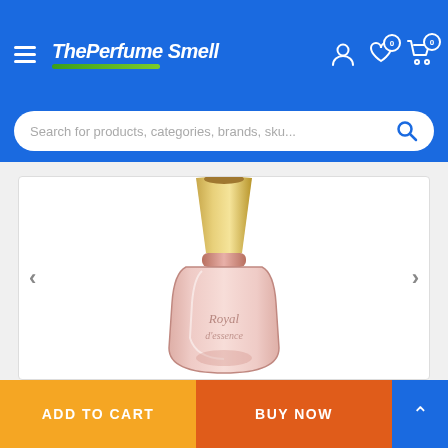The Perfume Smell — website header with logo, hamburger menu, user icon, wishlist (0), cart (0)
Search for products, categories, brands, sku...
[Figure (photo): Close-up photo of a luxury perfume bottle with pink/rose glass body and gold decorative cap, with cursive script label on the bottle body]
< (left arrow navigation)
> (right arrow navigation)
ADD TO CART
BUY NOW